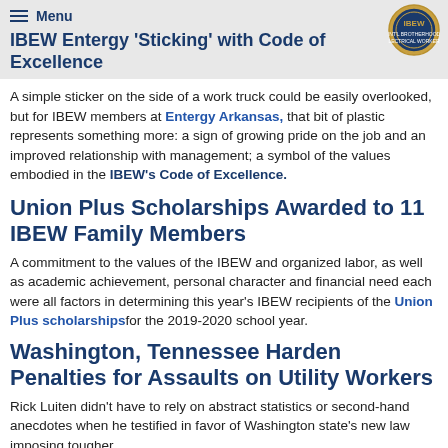IBEW Entergy 'Sticking' with Code of Excellence
A simple sticker on the side of a work truck could be easily overlooked, but for IBEW members at Entergy Arkansas, that bit of plastic represents something more: a sign of growing pride on the job and an improved relationship with management; a symbol of the values embodied in the IBEW's Code of Excellence.
Union Plus Scholarships Awarded to 11 IBEW Family Members
A commitment to the values of the IBEW and organized labor, as well as academic achievement, personal character and financial need each were all factors in determining this year's IBEW recipients of the Union Plus scholarships for the 2019-2020 school year.
Washington, Tennessee Harden Penalties for Assaults on Utility Workers
Rick Luiten didn't have to rely on abstract statistics or second-hand anecdotes when he testified in favor of Washington state's new law imposing tougher